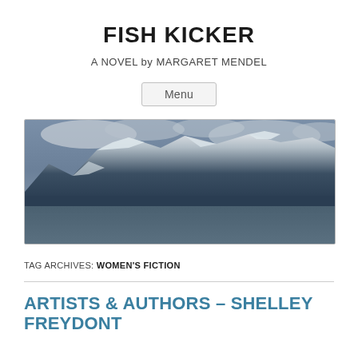FISH KICKER
A NOVEL by MARGARET MENDEL
Menu
[Figure (photo): Panoramic photograph of snow-capped mountains with dark water in the foreground and cloudy sky above]
TAG ARCHIVES: WOMEN'S FICTION
ARTISTS & AUTHORS – SHELLEY FREYDONT